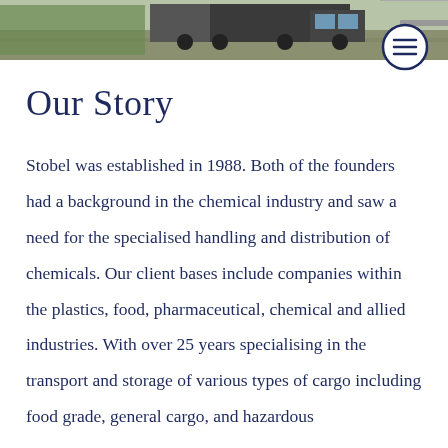[Figure (photo): Partial view of a truck on a highway, cropped at the top of the page]
Our Story
Stobel was established in 1988. Both of the founders had a background in the chemical industry and saw a need for the specialised handling and distribution of chemicals. Our client bases include companies within the plastics, food, pharmaceutical, chemical and allied industries. With over 25 years specialising in the transport and storage of various types of cargo including food grade, general cargo, and hazardous